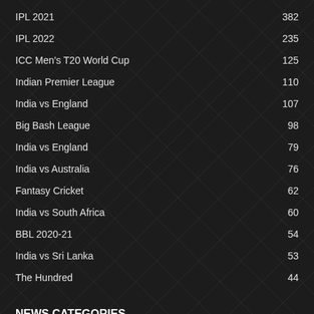IPL 2021 382
IPL 2022 235
ICC Men's T20 World Cup 125
Indian Premier League 110
India vs England 107
Big Bash League 98
India vs England 79
India vs Australia 76
Fantasy Cricket 62
India vs South Africa 60
BBL 2020-21 54
India vs Sri Lanka 53
The Hundred 44
NEWS CATEGORIES